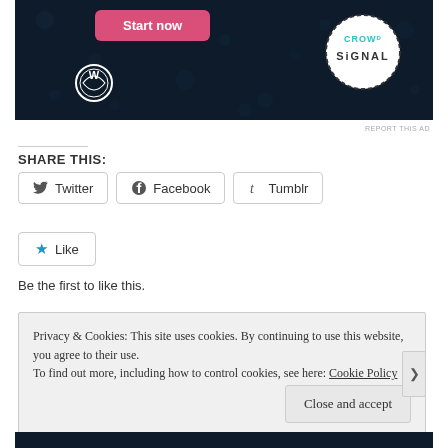[Figure (screenshot): Advertisement banner with dark navy background showing a 'Start now' pink button, WordPress logo, and CrowdSignal circular logo with dotted border on teal/dark background with dot pattern]
REPORT THIS AD
SHARE THIS:
Twitter  Facebook  Tumblr
Like
Be the first to like this.
Privacy & Cookies: This site uses cookies. By continuing to use this website, you agree to their use.
To find out more, including how to control cookies, see here: Cookie Policy
Close and accept